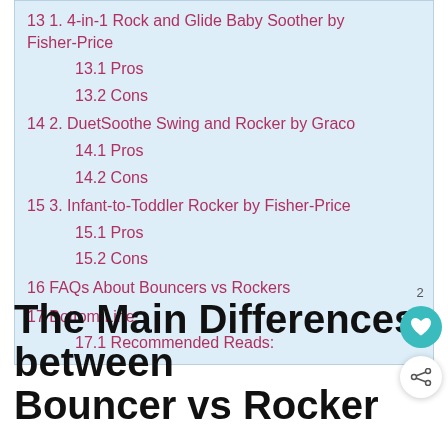13 1. 4-in-1 Rock and Glide Baby Soother by Fisher-Price
13.1 Pros
13.2 Cons
14 2. DuetSoothe Swing and Rocker by Graco
14.1 Pros
14.2 Cons
15 3. Infant-to-Toddler Rocker by Fisher-Price
15.1 Pros
15.2 Cons
16 FAQs About Bouncers vs Rockers
17 Bottom Line
17.1 Recommended Reads:
The Main Differences between Bouncer vs Rocker